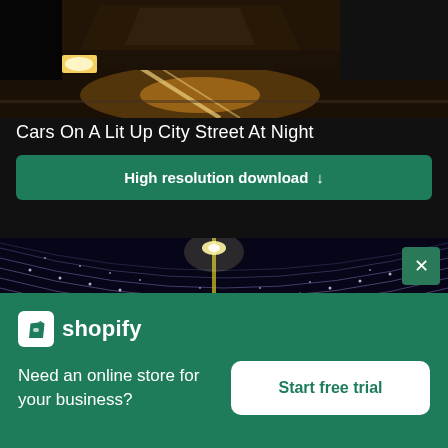[Figure (photo): A nighttime city street scene with wet pavement reflecting car headlights and street lights, partially visible at top]
Cars On A Lit Up City Street At Night
High resolution download
[Figure (photo): Christmas street lights display - thousands of decorative lights strung overhead with illuminated Santa decorations and signs, nighttime scene]
[Figure (logo): Shopify logo and advertisement banner - white shopping bag icon with Shopify text, tagline 'Need an online store for your business?' and 'Start free trial' button]